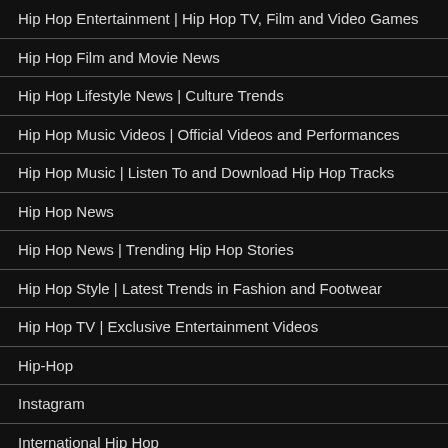Hip Hop Entertainment | Hip Hop TV, Film and Video Games
Hip Hop Film and Movie News
Hip Hop Lifestyle News | Culture Trends
Hip Hop Music Videos | Official Videos and Performances
Hip Hop Music | Listen To and Download Hip Hop Tracks
Hip Hop News
Hip Hop News | Trending Hip Hop Stories
Hip Hop Style | Latest Trends in Fashion and Footwear
Hip Hop TV | Exclusive Entertainment Videos
Hip-Hop
Instagram
International Hip Hop
Misc Video Clips